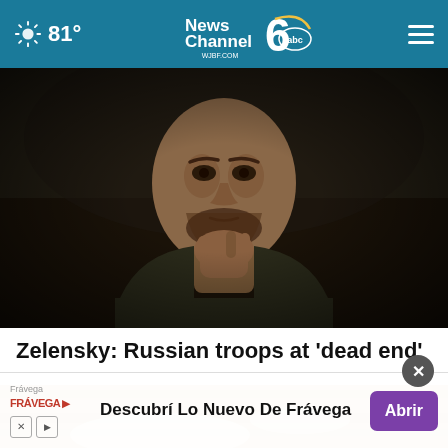81° News Channel 6 abc WJBF.COM
[Figure (photo): Close-up photo of Zelensky with a serious, pensive expression, hand raised to chin, wearing dark jacket, dark background]
Zelensky: Russian troops at 'dead end'
[Figure (photo): Partial photo showing a light-colored surface, likely food-related, partially obscured by advertisement overlay]
Frávega
Descubrí Lo Nuevo De Frávega
Abrir